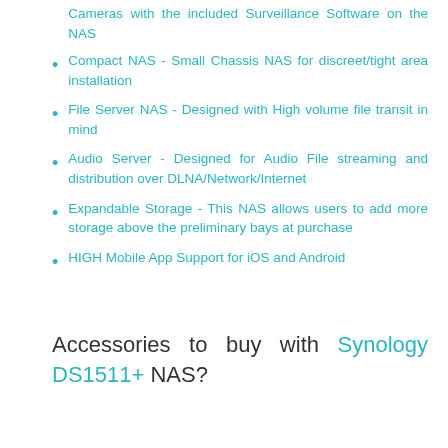Cameras with the included Surveillance Software on the NAS
Compact NAS - Small Chassis NAS for discreet/tight area installation
File Server NAS - Designed with High volume file transit in mind
Audio Server - Designed for Audio File streaming and distribution over DLNA/Network/Internet
Expandable Storage - This NAS allows users to add more storage above the preliminary bays at purchase
HIGH Mobile App Support for iOS and Android
Accessories to buy with Synology DS1511+ NAS?